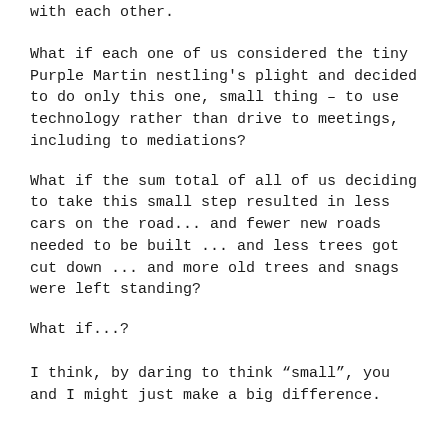with each other.
What if each one of us considered the tiny Purple Martin nestling's plight and decided to do only this one, small thing – to use technology rather than drive to meetings, including to mediations?
What if the sum total of all of us deciding to take this small step resulted in less cars on the road... and fewer new roads needed to be built ... and less trees got cut down ... and more old trees and snags were left standing?
What if...?
I think, by daring to think “small”, you and I might just make a big difference.